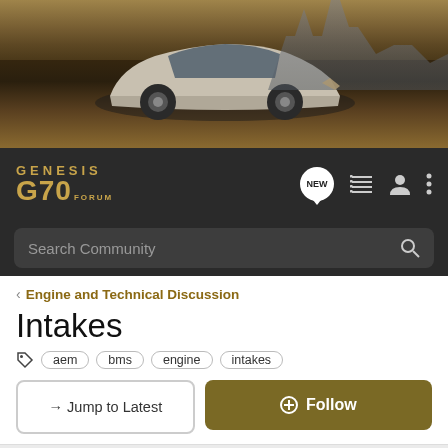[Figure (photo): Hero banner showing a silver Genesis G70 sedan parked near waterfront, with city buildings in the background. Dark atmospheric background.]
GENESIS G70 FORUM — navigation bar with NEW posts icon, list view, user profile, and more options icons, and Search Community search bar
< Engine and Technical Discussion
Intakes
aem  bms  engine  intakes
→ Jump to Latest
+ Follow
1 - 3 of 3 Posts
VicSweetG70 · Registered 🇺🇸